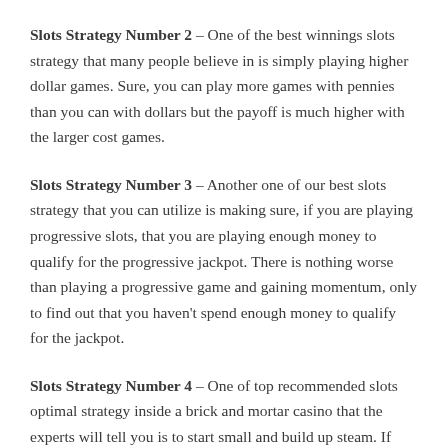Slots Strategy Number 2 – One of the best winnings slots strategy that many people believe in is simply playing higher dollar games. Sure, you can play more games with pennies than you can with dollars but the payoff is much higher with the larger cost games.
Slots Strategy Number 3 – Another one of our best slots strategy that you can utilize is making sure, if you are playing progressive slots, that you are playing enough money to qualify for the progressive jackpot. There is nothing worse than playing a progressive game and gaining momentum, only to find out that you haven't spend enough money to qualify for the jackpot.
Slots Strategy Number 4 – One of top recommended slots optimal strategy inside a brick and mortar casino that the experts will tell you is to start small and build up steam. If you